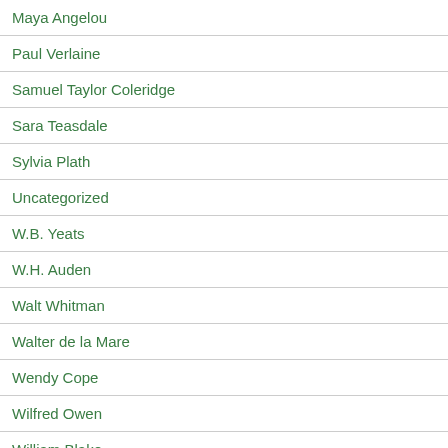Maya Angelou
Paul Verlaine
Samuel Taylor Coleridge
Sara Teasdale
Sylvia Plath
Uncategorized
W.B. Yeats
W.H. Auden
Walt Whitman
Walter de la Mare
Wendy Cope
Wilfred Owen
William Blake